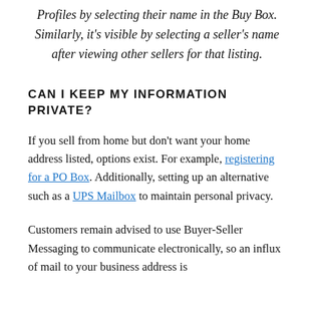Profiles by selecting their name in the Buy Box. Similarly, it's visible by selecting a seller's name after viewing other sellers for that listing.
CAN I KEEP MY INFORMATION PRIVATE?
If you sell from home but don't want your home address listed, options exist. For example, registering for a PO Box. Additionally, setting up an alternative such as a UPS Mailbox to maintain personal privacy.
Customers remain advised to use Buyer-Seller Messaging to communicate electronically, so an influx of mail to your business address is